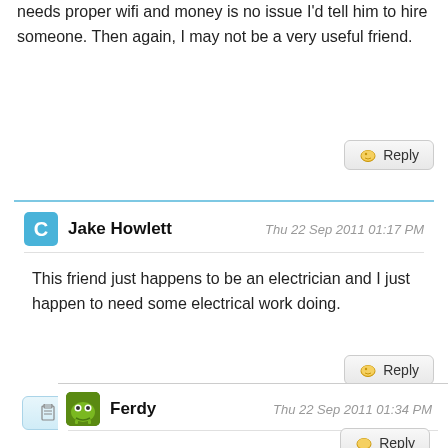needs proper wifi and money is no issue I'd tell him to hire someone. Then again, I may not be a very useful friend.
Reply
Jake Howlett  Thu 22 Sep 2011 01:17 PM
This friend just happens to be an electrician and I just happen to need some electrical work doing.
Reply
Hide the rest of this thread
Ferdy  Thu 22 Sep 2011 01:34 PM
That or beer is always a good reason.
Reply